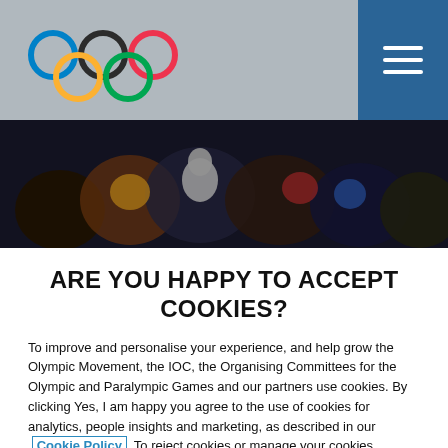[Figure (logo): Olympic rings logo (five interlocking rings in blue, black, red, yellow, green) on grey header bar with blue hamburger menu button on right]
[Figure (photo): Dark crowd scene photo showing winter sports athletes and spectators]
ARE YOU HAPPY TO ACCEPT COOKIES?
To improve and personalise your experience, and help grow the Olympic Movement, the IOC, the Organising Committees for the Olympic and Paralympic Games and our partners use cookies. By clicking Yes, I am happy you agree to the use of cookies for analytics, people insights and marketing, as described in our Cookie Policy To reject cookies or manage your cookies preferences click No, manage settings.
No, manage settings
Yes, I am happy